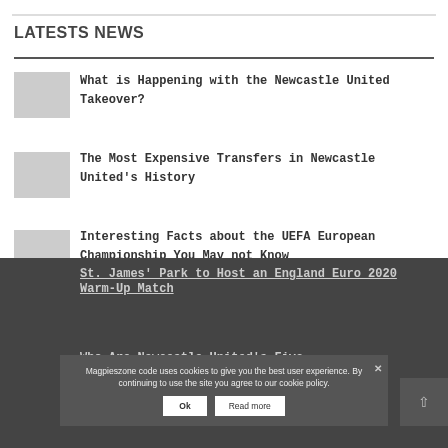LATESTS NEWS
What is Happening with the Newcastle United Takeover?
The Most Expensive Transfers in Newcastle United's History
Interesting Facts about the UEFA European Championship You May not Know
St. James' Park to Host an England Euro 2020 Warm-Up Match
Who Are Newcastle United's Five Biggest Ri
Magpieszone code uses cookies to give you the best user experience. By continuing to use the site you agree to our cookie policy.